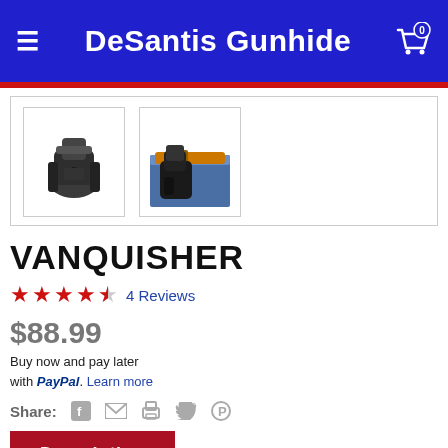DeSantis Gunhide
[Figure (photo): Two product thumbnail images of the Vanquisher holster — one showing the holster alone (dark, tactical), one showing the holster worn on a belt with jeans]
VANQUISHER
★★★★☆ 4 Reviews
$88.99
Buy now and pay later with PayPal. Learn more
Share: (Facebook) (Email) (Print) (Twitter) (Pinterest)
Description